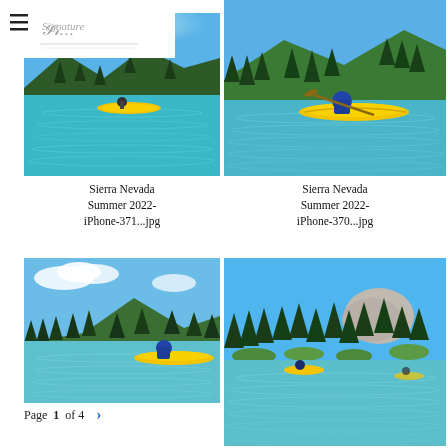[Figure (photo): Hamburger menu icon and cursive logo/signature on white background header]
[Figure (photo): Kayaker in a yellow kayak on a clear turquoise alpine lake surrounded by pine-covered mountains, bright sunny day, Sierra Nevada]
[Figure (photo): Person in blue jacket sitting in yellow kayak on calm mountain lake with pine trees and mountains in background, Sierra Nevada]
Sierra Nevada Summer 2022-iPhone-371...jpg
Sierra Nevada Summer 2022-iPhone-370...jpg
[Figure (photo): Person in yellow kayak on mountain lake with tall pine trees and blue sky with white clouds, Sierra Nevada]
[Figure (photo): Pine trees and large granite boulders reflected in a calm mountain lake with blue sky, Sierra Nevada, kayaker visible]
Page 1 of 4 >